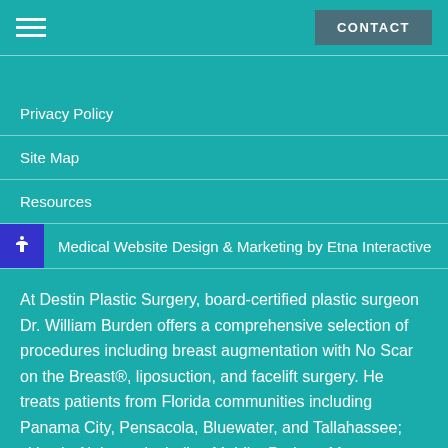CONTACT
Privacy Policy
Site Map
Resources
Medical Website Design & Marketing by Etna Interactive
At Destin Plastic Surgery, board-certified plastic surgeon Dr. William Burden offers a comprehensive selection of procedures including breast augmentation with No Scar on the Breast®, liposuction, and facelift surgery. He treats patients from Florida communities including Panama City, Pensacola, Bluewater, and Tallahassee; cities in Alabama including Mobile, Dothan, Montgomery, and Gulf Shor…